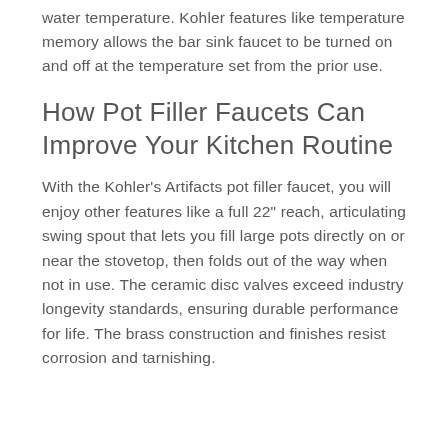water temperature. Kohler features like temperature memory allows the bar sink faucet to be turned on and off at the temperature set from the prior use.
How Pot Filler Faucets Can Improve Your Kitchen Routine
With the Kohler's Artifacts pot filler faucet, you will enjoy other features like a full 22" reach, articulating swing spout that lets you fill large pots directly on or near the stovetop, then folds out of the way when not in use. The ceramic disc valves exceed industry longevity standards, ensuring durable performance for life. The brass construction and finishes resist corrosion and tarnishing.